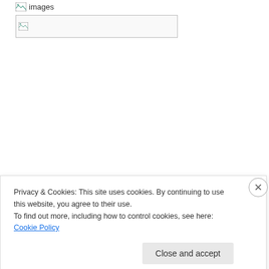[Figure (other): Broken image placeholder with text 'images' and a banner-shaped broken image box]
MARTIN KARPLUS
[Figure (other): Small broken image placeholder icon]
Schönbrunn, Austria, 1954
Privacy & Cookies: This site uses cookies. By continuing to use this website, you agree to their use.
To find out more, including how to control cookies, see here: Cookie Policy
Close and accept